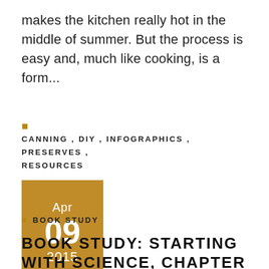makes the kitchen really hot in the middle of summer. But the process is easy and, much like cooking, is a form...
CANNING, DIY, INFOGRAPHICS, PRESERVES, RESOURCES
Apr 09 2015
BOOK STUDY
BOOK STUDY: STARTING WITH SCIENCE, CHAPTER 6: TEACHERS TALK ABOUT INQUIRY-BASED